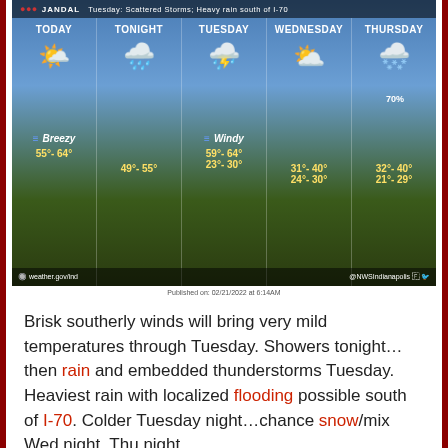[Figure (infographic): NWS Indianapolis 5-day weather forecast graphic showing TODAY through THURSDAY with weather icons, Breezy/Windy conditions, and temperature ranges. Background shows a wooded road in winter. TODAY: Breezy, 55°-64°; TONIGHT: 49°-55°; TUESDAY: Windy, 59°-64°, 23°-30°; WEDNESDAY: 31°-40°, 24°-30°; THURSDAY: 70%, 32°-40°, 21°-29°]
Published on: 02/21/2022 at 6:14AM
Brisk southerly winds will bring very mild temperatures through Tuesday. Showers tonight…then rain and embedded thunderstorms Tuesday. Heaviest rain with localized flooding possible south of I-70. Colder Tuesday night…chance snow/mix Wed night, Thu night.